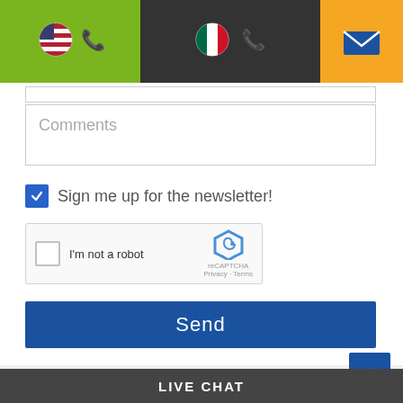[Figure (infographic): Website header bar with three sections: green section with US flag emoji and phone icon, dark section with Mexican flag emoji and phone icon, orange section with email/envelope icon]
[Figure (screenshot): Empty text input box at top of form]
Comments
Sign me up for the newsletter! (checkbox checked)
[Figure (screenshot): reCAPTCHA widget with 'I'm not a robot' checkbox, reCAPTCHA logo, Privacy and Terms links]
Send
[Figure (logo): Partial company logo with orange and blue arcs visible in gray footer area]
LIVE CHAT